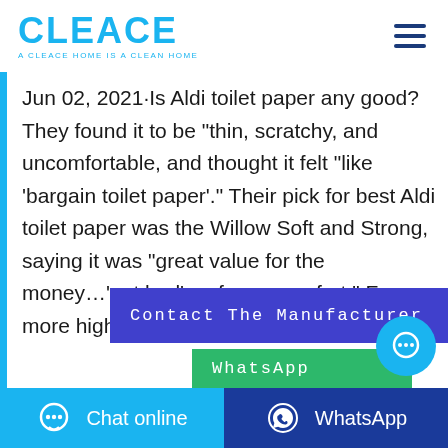CLEACE — A CLEACE HOME IS A CLEAN HOME
Jun 02, 2021·Is Aldi toilet paper any good? They found it to be “thin, scratchy, and uncomfortable, and thought it felt “like ‘bargain toilet paper’.” Their pick for best Aldi toilet paper was the Willow Soft and Strong, saying it was “great value for the money…‘not bad’ as far as comfort.” For a more high-quality toilet
Contact The Manufacturer
WhatsApp
Chat online | WhatsApp